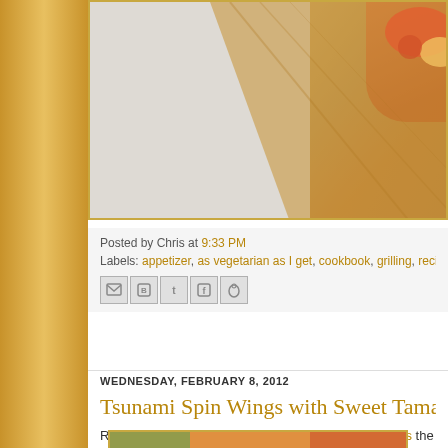[Figure (photo): Food photo showing a wooden cutting board with food items, partially visible at top of page]
Posted by Chris at 9:33 PM
Labels: appetizer, as vegetarian as I get, cookbook, grilling, recipe, vegeta...
[Figure (infographic): Social sharing icons: email, blogger, twitter, facebook, pinterest]
WEDNESDAY, FEBRUARY 8, 2012
Tsunami Spin Wings with Sweet Tama... Sauce
Remember that sauce I made for the Asian Mini Tacos the othe...
[Figure (photo): Food photo at bottom showing colorful Asian food items]